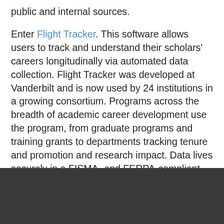public and internal sources.
Enter Flight Tracker. This software allows users to track and understand their scholars' careers longitudinally via automated data collection. Flight Tracker was developed at Vanderbilt and is now used by 24 institutions in a growing consortium. Programs across the breadth of academic career development use the program, from graduate programs and training grants to departments tracking tenure and promotion and research impact. Data lives securely in a FISMA- and FERPA-compliant REDCap database.
[Figure (other): Dark gray/black rectangular area at the bottom of the page, likely a screenshot or image placeholder.]